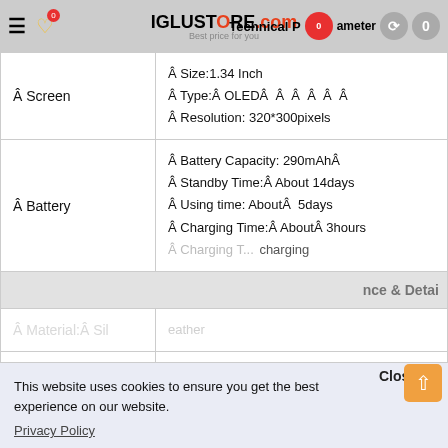IGLUSTORE.com Best price for you — Technical Parameters
|  |  |
| --- | --- |
|  Screen |  Size:1.34 Inch
 Type: OLED
 Resolution: 320*300pixels |
|  Battery |  Battery Capacity: 290mAh
 Standby Time: About 14days
 Using time: About 5days
 Charging Time: About 3hours
 Charging Type: Dis…charging |
|  | nce & Detail… |
|  | eather |
|  | Bracelet |
This website uses cookies to ensure you get the best experience on our website.
Privacy Policy
Preferences
Accept